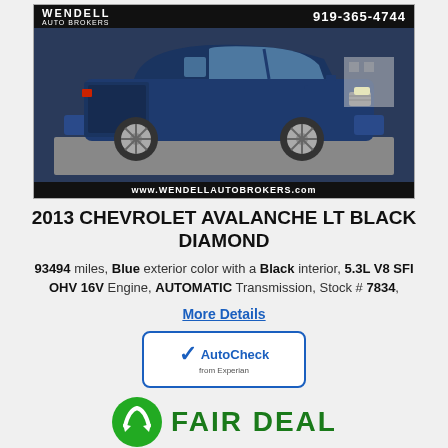[Figure (photo): Blue 2013 Chevrolet Avalanche LT Black Diamond SUV/truck, parked in a lot. Dealer banner at top reads WENDELL AUTO BROKERS 919-365-4744. Bottom banner reads www.WENDELLAUTOBROKERS.com]
2013 CHEVROLET AVALANCHE LT BLACK DIAMOND
93494 miles, Blue exterior color with a Black interior, 5.3L V8 SFI OHV 16V Engine, AUTOMATIC Transmission, Stock # 7834,
More Details
[Figure (logo): AutoCheck from Experian logo inside a blue-bordered rounded rectangle]
[Figure (logo): FAIR DEAL badge with green circular arrow icon and green bold text FAIR DEAL]